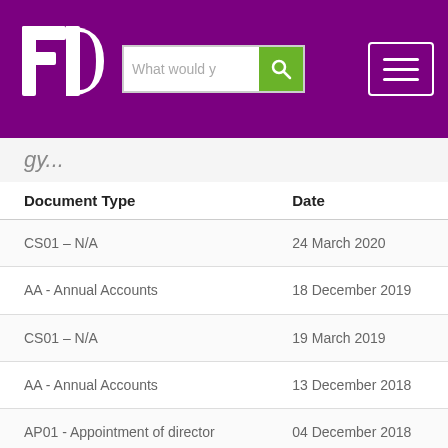[Figure (logo): FD logo in white on purple background, with search bar and hamburger menu]
gy...
| Document Type | Date |
| --- | --- |
| CS01 – N/A | 24 March 2020 |
| AA - Annual Accounts | 18 December 2019 |
| CS01 – N/A | 19 March 2019 |
| AA - Annual Accounts | 13 December 2018 |
| AP01 - Appointment of director | 04 December 2018 |
| TM01 - Termination of appointment of director | 04 December 2018 |